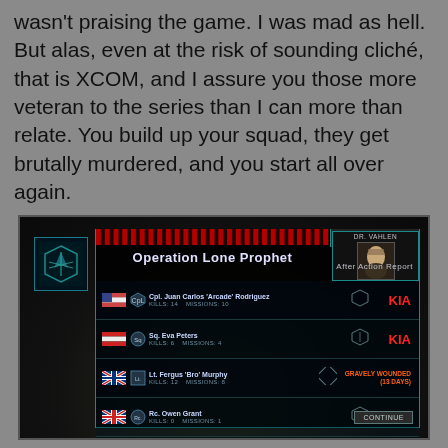wasn't praising the game. I was mad as hell. But alas, even at the risk of sounding cliché, that is XCOM, and I assure you those more veteran to the series than I can more than relate. You build up your squad, they get brutally murdered, and you start all over again.
[Figure (screenshot): XCOM game screenshot showing 'Operation Lone Prophet' After Action Report debriefing screen with squad member outcomes: Cpl. Juan Carlos 'Arcade' Rodriguez - KIA (Kills: 14, Missions: 10), Sq. Eva Peters - KIA (Kills: 6, Missions: 4), Lt. Fergus 'Bro' Murphy - Gravely Wounded 13 Days (Kills: 12, Missions: 8), Rc. Owen Grant - KIA (Kills: 0, Missions: 1), Cpl. James Allen - Wounded (10 Days) (Kills: 9, Missions: 3), Rc. Cory Norris - KIA (Kills: 2, Missions: 1). Dr. Vahlen shown in top right corner.]